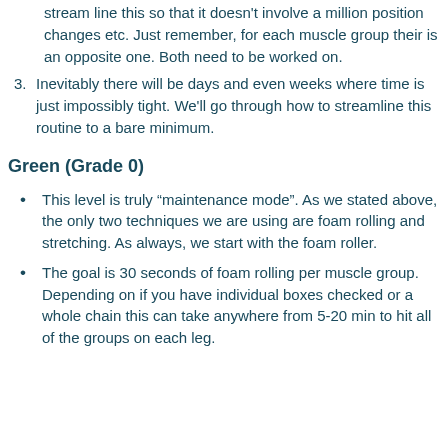stream line this so that it doesn't involve a million position changes etc. Just remember, for each muscle group their is an opposite one. Both need to be worked on.
Inevitably there will be days and even weeks where time is just impossibly tight. We'll go through how to streamline this routine to a bare minimum.
Green (Grade 0)
This level is truly “maintenance mode”. As we stated above, the only two techniques we are using are foam rolling and stretching. As always, we start with the foam roller.
The goal is 30 seconds of foam rolling per muscle group. Depending on if you have individual boxes checked or a whole chain this can take anywhere from 5-20 min to hit all of the groups on each leg.